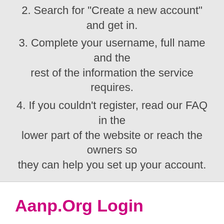2. Search for "Create a new account" and get in.
3. Complete your username, full name and the rest of the information the service requires.
4. If you couldn't register, read our FAQ in the lower part of the website or reach the owners so they can help you set up your account.
Aanp.Org Login